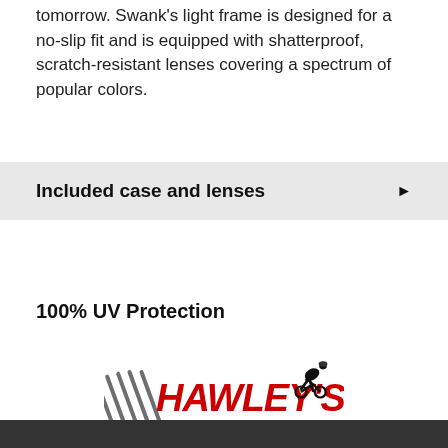tomorrow. Swank's light frame is designed for a no-slip fit and is equipped with shatterproof, scratch-resistant lenses covering a spectrum of popular colors.
Included case and lenses
100% UV Protection
[Figure (logo): Hawley's Bicycle World logo with red stylized text and a cyclist silhouette]